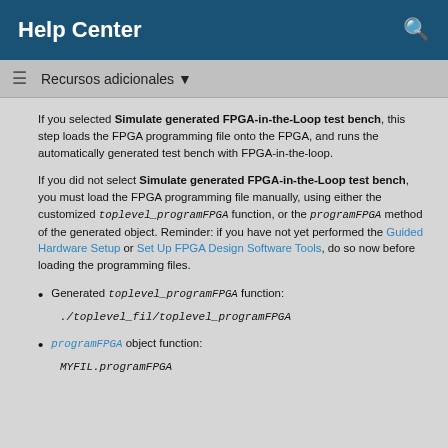Help Center
Recursos adicionales ▾
If you selected Simulate generated FPGA-in-the-Loop test bench, this step loads the FPGA programming file onto the FPGA, and runs the automatically generated test bench with FPGA-in-the-loop.
If you did not select Simulate generated FPGA-in-the-Loop test bench, you must load the FPGA programming file manually, using either the customized toplevel_programFPGA function, or the programFPGA method of the generated object. Reminder: if you have not yet performed the Guided Hardware Setup or Set Up FPGA Design Software Tools, do so now before loading the programming files.
Generated toplevel_programFPGA function:
./toplevel_fil/toplevel_programFPGA
programFPGA object function:
MYFIL.programFPGA